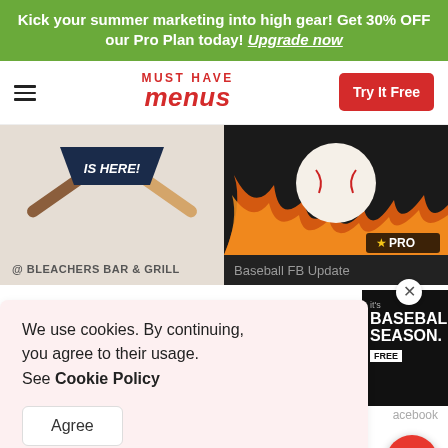Kick your summer marketing into high gear! Get 30% OFF our Pro Plan today! Upgrade now
[Figure (screenshot): Must Have Menus website navigation bar with hamburger menu icon, logo, and Try It Free button]
[Figure (screenshot): Left content panel showing baseball bat illustration with 'IS HERE!' pennant and '@BLEACHERS BAR & GRILL' venue label]
[Figure (screenshot): Right content panel showing baseball with flames image with PRO badge and 'Baseball FB Update' label]
We use cookies. By continuing, you agree to their usage. See Cookie Policy
Agree
[Figure (screenshot): Small card showing 'It's BASEBALL SEASON. FREE' in white text on black background]
[Figure (screenshot): Bottom row thumbnails: green baseball field image on left, 'OCTOBER IS BASEBALL SEASON!' text on dark background on right]